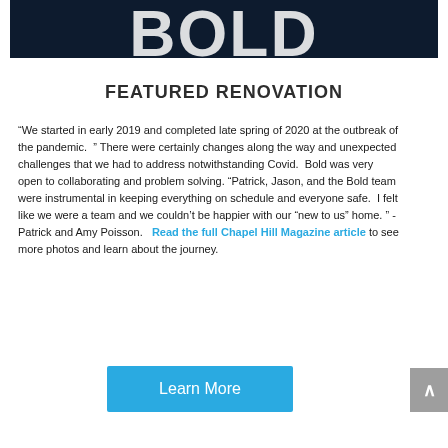[Figure (logo): Dark navy banner with partial white bold text logo partially visible at top]
FEATURED RENOVATION
“We started in early 2019 and completed late spring of 2020 at the outbreak of the pandemic.  ” There were certainly changes along the way and unexpected challenges that we had to address notwithstanding Covid.  Bold was very open to collaborating and problem solving. “Patrick, Jason, and the Bold team were instrumental in keeping everything on schedule and everyone safe.  I felt like we were a team and we couldn’t be happier with our “new to us” home. ” -Patrick and Amy Poisson.  Read the full Chapel Hill Magazine article to see more photos and learn about the journey.
Learn More